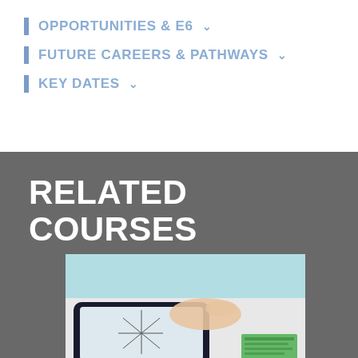OPPORTUNITIES & E6
FUTURE CAREERS & PATHWAYS
KEY DATES
RELATED COURSES
[Figure (photo): Person's hand touching a tablet screen showing a geometric diagram, with green-highlighted paper notes visible in the background.]